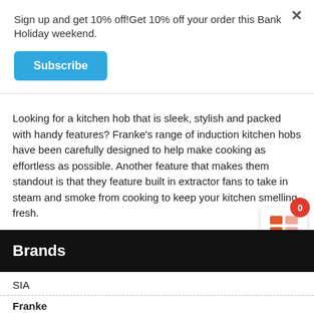Sign up and get 10% off!Get 10% off your order this Bank Holiday weekend.
Subscribe
Looking for a kitchen hob that is sleek, stylish and packed with handy features? Franke's range of induction kitchen hobs have been carefully designed to help make cooking as effortless as possible. Another feature that makes them standout is that they feature built in extractor fans to take in steam and smoke from cooking to keep your kitchen smelling fresh.
Brands
SIA
Franke
Astracast